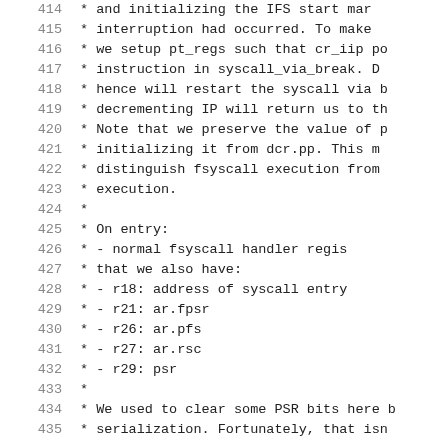414  * and initializing the IFS start mark...
415  * interruption had occurred. To make s
416  * we setup pt_regs such that cr_iip po
417  * instruction in syscall_via_break. De
418  * hence will restart the syscall via b
419  * decrementing IP will return us to the
420  * Note that we preserve the value of ps
421  * initializing it from dcr.pp. This ma
422  * distinguish fsyscall execution from c
423  * execution.
424  *
425  * On entry:
426  *      - normal fsyscall handler regis
427  *        that we also have:
428  *      - r18: address of syscall entry
429  *      - r21: ar.fpsr
430  *      - r26: ar.pfs
431  *      - r27: ar.rsc
432  *      - r29: psr
433  *
434  * We used to clear some PSR bits here b
435  * serialization. Fortunately, that isn